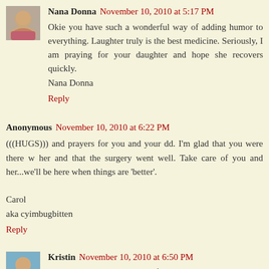[Figure (photo): Avatar photo of Nana Donna, a woman]
Nana Donna  November 10, 2010 at 5:17 PM
Okie you have such a wonderful way of adding humor to everything. Laughter truly is the best medicine. Seriously, I am praying for your daughter and hope she recovers quickly.
Nana Donna
Reply
Anonymous  November 10, 2010 at 6:22 PM
(((HUGS))) and prayers for you and your dd. I'm glad that you were there w her and that the surgery went well. Take care of you and her...we'll be here when things are 'better'.

Carol
aka cyimbugbitten
Reply
[Figure (photo): Avatar photo of Kristin, a woman]
Kristin  November 10, 2010 at 6:50 PM
So glad you could be there for your daughter!! 20 years ago the